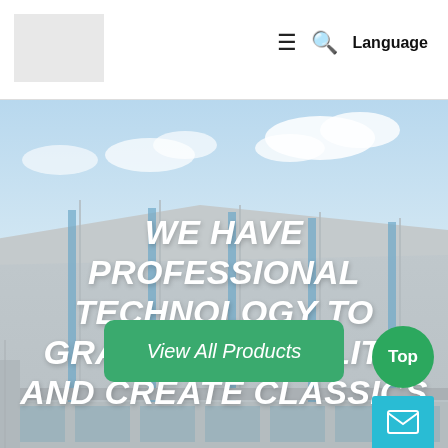[Figure (screenshot): Website header with logo placeholder box on left, hamburger menu icon, search icon, and Language text on right]
[Figure (photo): Hero background photo of a modern industrial/commercial building exterior with grey facade panels and blue sky with white clouds]
WE HAVE PROFESSIONAL TECHNOLOGY TO GRASP THE QUALITY AND CREATE CLASSICS
View All Products
Top